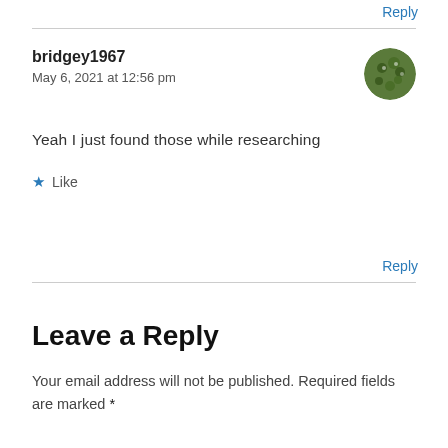Reply
bridgey1967
May 6, 2021 at 12:56 pm
Yeah I just found those while researching
Like
Reply
Leave a Reply
Your email address will not be published. Required fields are marked *